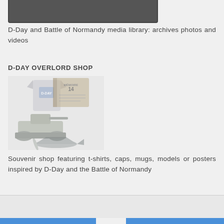[Figure (photo): Bottom portion of a black and white archival photograph, partially visible at the top of the page]
D-Day and Battle of Normandy media library: archives photos and videos
D-DAY OVERLORD SHOP
[Figure (illustration): Collage illustration showing D-Day souvenir shop products including a t-shirt with D-Day logo, a book titled 'Mémoire 14', a model tank, and a model WWII aircraft]
Souvenir shop featuring t-shirts, caps, mugs, models or posters inspired by D-Day and the Battle of Normandy